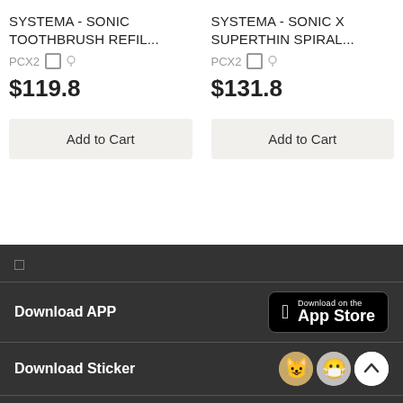SYSTEMA - SONIC TOOTHBRUSH REFIL...
PCX2
$119.8
Add to Cart
SYSTEMA - SONIC X SUPERTHIN SPIRAL...
PCX2
$131.8
Add to Cart
□
Download APP
[Figure (logo): Download on the App Store badge with Apple logo]
Download Sticker
[Figure (illustration): Three lucky cat sticker icons]
About Us